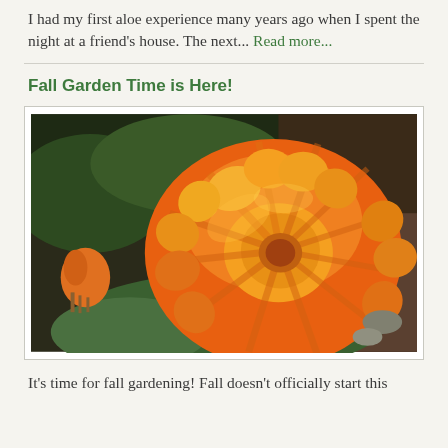I had my first aloe experience many years ago when I spent the night at a friend's house. The next... Read more...
Fall Garden Time is Here!
[Figure (photo): Close-up photograph of a bright orange marigold or calendula flower in full bloom, with green leaves and garden soil visible in the background. A second orange flower bud is partially visible on the left side.]
It's time for fall gardening! Fall doesn't officially start this